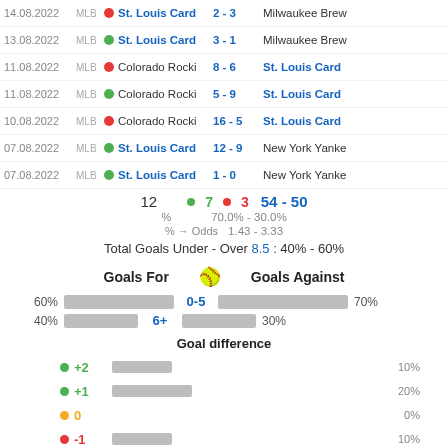14.08.2022 MLB • St. Louis Card 2-3 Milwaukee Brew
13.08.2022 MLB • St. Louis Card 3-1 Milwaukee Brew
11.08.2022 MLB • Colorado Rocki 8-6 St. Louis Card
11.08.2022 MLB • Colorado Rocki 5-9 St. Louis Card
10.08.2022 MLB • Colorado Rocki 16-5 St. Louis Card
07.08.2022 MLB • St. Louis Card 12-9 New York Yanke
07.08.2022 MLB • St. Louis Card 1-0 New York Yanke
12  • 7  • 3  54 - 50
%  70.0% - 30.0%
% → Odds  1.43 - 3.33
Total Goals Under - Over 8.5 : 40% - 60%
Goals For   ⚾   Goals Against
60%  0-5  70%
40%  6+  30%
Goal difference
+2  10%
+1  20%
0  0%
-1  10%
-2  10%
Regulation Time
Goal Average 5.40 - 5.00 (10.40)
St. Louis Cardinals performance